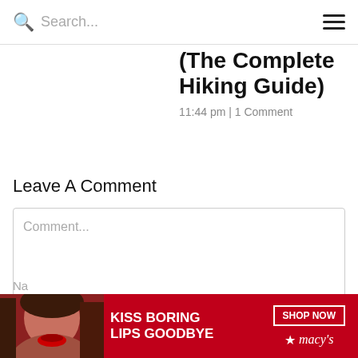Search...
(The Complete Hiking Guide)
11:44 pm | 1 Comment
Leave A Comment
Comment...
[Figure (photo): Advertisement banner for Macy's lipstick promotion reading KISS BORING LIPS GOODBYE with SHOP NOW button and Macy's logo]
Na